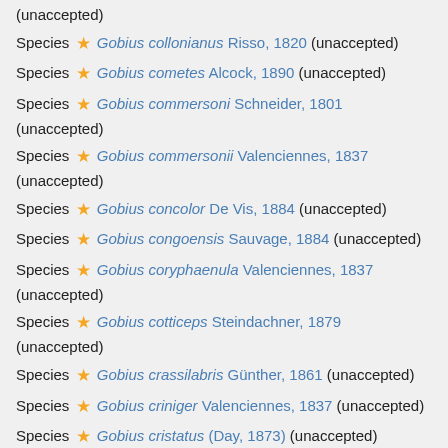(unaccepted)
Species ★ Gobius collonianus Risso, 1820 (unaccepted)
Species ★ Gobius cometes Alcock, 1890 (unaccepted)
Species ★ Gobius commersoni Schneider, 1801 (unaccepted)
Species ★ Gobius commersonii Valenciennes, 1837 (unaccepted)
Species ★ Gobius concolor De Vis, 1884 (unaccepted)
Species ★ Gobius congoensis Sauvage, 1884 (unaccepted)
Species ★ Gobius coryphaenula Valenciennes, 1837 (unaccepted)
Species ★ Gobius cotticeps Steindachner, 1879 (unaccepted)
Species ★ Gobius crassilabris Günther, 1861 (unaccepted)
Species ★ Gobius criniger Valenciennes, 1837 (unaccepted)
Species ★ Gobius cristatus (Day, 1873) (unaccepted)